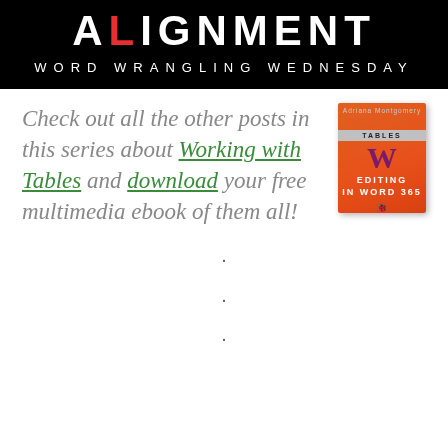[Figure (infographic): Black banner header with 'ALIGNMENT' in white bold uppercase letters and a red accent, subtitle 'WORD WRANGLING WEDNESDAY' in white spaced uppercase letters]
Check out all the other posts in this series about Working with Tables and download your free multimedia ebook of them all!
[Figure (illustration): Book cover for 'Editing in Word 365' with Tables section highlighted, orange/red cover with large W letter and text]
.
.
.